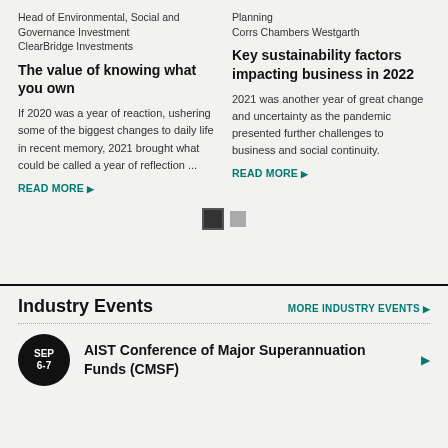Head of Environmental, Social and Governance Investment
ClearBridge Investments
The value of knowing what you own
If 2020 was a year of reaction, ushering some of the biggest changes to daily life in recent memory, 2021 brought what could be called a year of reflection ...
READ MORE ▶
Planning
Corrs Chambers Westgarth
Key sustainability factors impacting business in 2022
2021 was another year of great change and uncertainty as the pandemic presented further challenges to business and social continuity.
READ MORE ▶
[Figure (other): Pagination indicator: one filled black square and one grey square]
Industry Events
MORE INDUSTRY EVENTS ▶
SEP 6-7
AIST Conference of Major Superannuation Funds (CMSF)